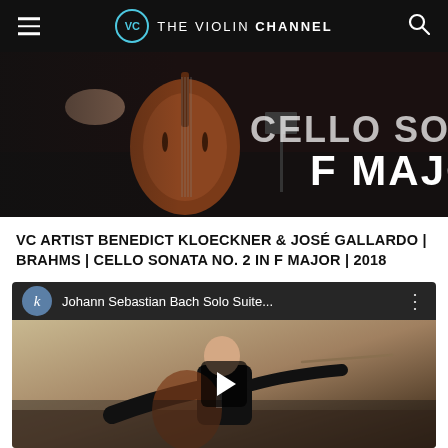VC THE VIOLIN CHANNEL
[Figure (screenshot): Video thumbnail showing a cellist performing, with overlay text reading 'CELLO SONATA F MAJOR' in large white bold uppercase letters on a dark background.]
VC ARTIST BENEDICT KLOECKNER & JOSÉ GALLARDO | BRAHMS | CELLO SONATA NO. 2 IN F MAJOR | 2018
[Figure (screenshot): Embedded YouTube-style video player showing a young male cellist in a black suit performing on stage, with a video title bar reading 'Johann Sebastian Bach Solo Suite...' and a play button overlay.]